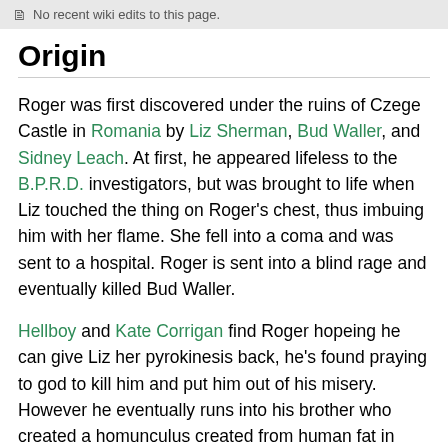No recent wiki edits to this page.
Origin
Roger was first discovered under the ruins of Czege Castle in Romania by Liz Sherman, Bud Waller, and Sidney Leach. At first, he appeared lifeless to the B.P.R.D. investigators, but was brought to life when Liz touched the thing on Roger's chest, thus imbuing him with her flame. She fell into a coma and was sent to a hospital. Roger is sent into a blind rage and eventually killed Bud Waller.
Hellboy and Kate Corrigan find Roger hopeing he can give Liz her pyrokinesis back, he's found praying to god to kill him and put him out of his misery. However he eventually runs into his brother who created a homunculus created from human fat in hopes of getting revenge on humanity. Hellboy tries to fight the homunculus but can't seem to slay it. Roger intervened asking his brother to "forgive him", his